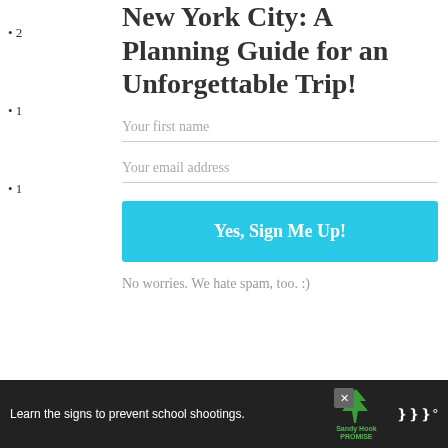New York City: A Planning Guide for an Unforgettable Trip!
2
1
1
Your first name
Your email address
Yes, Sign Me Up!
No worries. We hate spam, too. :)
WHAT'S NEXT → New York City
[Figure (screenshot): Sandy Hook Promise advertisement banner with tree logo and text: Learn the signs to prevent school shootings.]